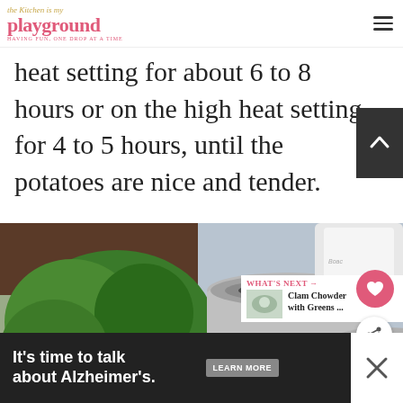the Kitchen is my playground
heat setting for about 6 to 8 hours or on the high heat setting for 4 to 5 hours, until the potatoes are nice and tender.
[Figure (photo): Close-up photo of a tin/can with fresh herbs (parsley) in the background, on a kitchen counter]
WHAT'S NEXT → Clam Chowder with Greens ...
It's time to talk about Alzheimer's.